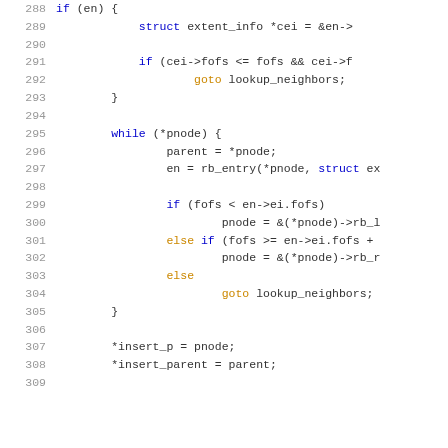Source code listing, lines 288-309, C language kernel code dealing with extent_info lookups in a red-black tree.